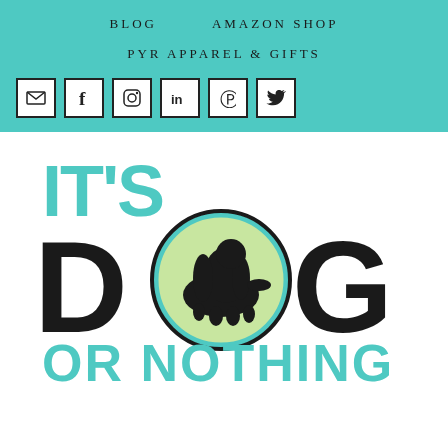BLOG   AMAZON SHOP   PYR APPAREL & GIFTS
[Figure (logo): Navigation bar with teal background showing BLOG, AMAZON SHOP, PYR APPAREL & GIFTS menu items and social media icons for email, Facebook, Instagram, LinkedIn, Pinterest, Twitter]
[Figure (logo): It's Dog Or Nothing logo - teal IT'S text, large black DOG letters with the O replaced by a green circle containing a black Newfoundland dog silhouette, teal OR NOTHING text below]